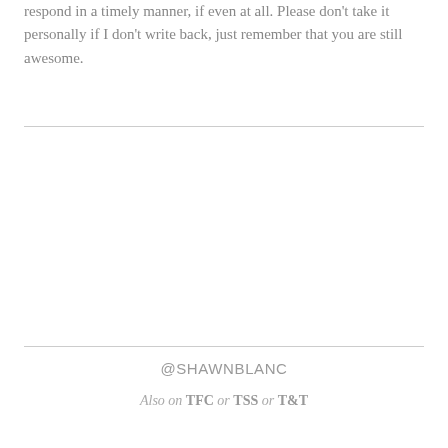respond in a timely manner, if even at all. Please don't take it personally if I don't write back, just remember that you are still awesome.
@SHAWNBLANC
Also on TFC or TSS or T&T